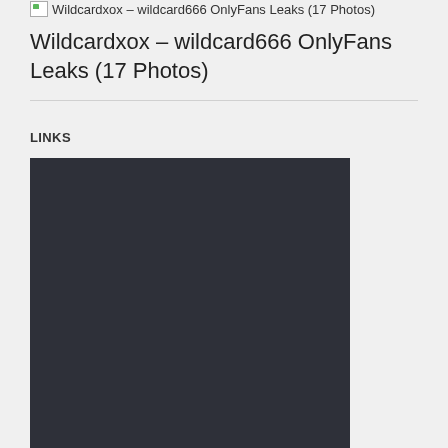[Figure (other): Broken image icon with alt text: Wildcardxox – wildcard666 OnlyFans Leaks (17 Photos)]
Wildcardxox – wildcard666 OnlyFans Leaks (17 Photos)
LINKS
[Figure (photo): Large dark rectangular image block with dark gray/charcoal background color (#2e3039)]